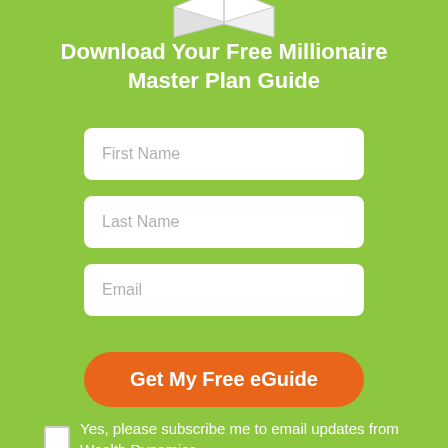[Figure (illustration): Book/guide illustration partially visible at top of page, showing a white book with dark accents on a green background]
Download Your Free Millionaire Master Plan Guide
First Name
Last Name
Email
Get My Free eGuide
Yes, please subscribe me to email updates from Wealth Dynamics